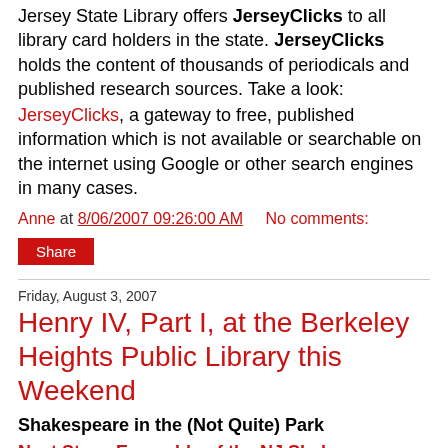Jersey State Library offers JerseyClicks to all library card holders in the state. JerseyClicks holds the content of thousands of periodicals and published research sources. Take a look:
JerseyClicks, a gateway to free, published information which is not available or searchable on the internet using Google or other search engines in many cases.
Anne at 8/06/2007 09:26:00 AM   No comments:
Share
Friday, August 3, 2007
Henry IV, Part I, at the Berkeley Heights Public Library this Weekend
Shakespeare in the (Not Quite) Park
Next Stage Ensemble of the NJ Shakespeare Theatre presents: